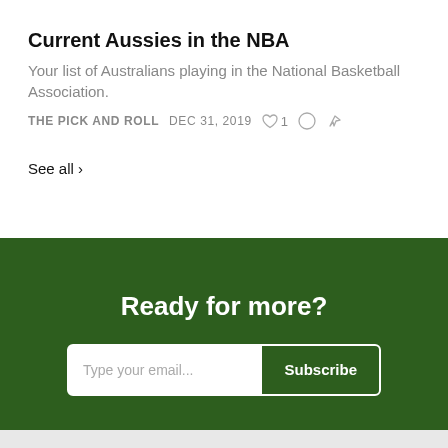Current Aussies in the NBA
Your list of Australians playing in the National Basketball Association.
THE PICK AND ROLL   DEC 31, 2019   ♡ 1   ○   ↗
See all ›
Ready for more?
Type your email...   Subscribe